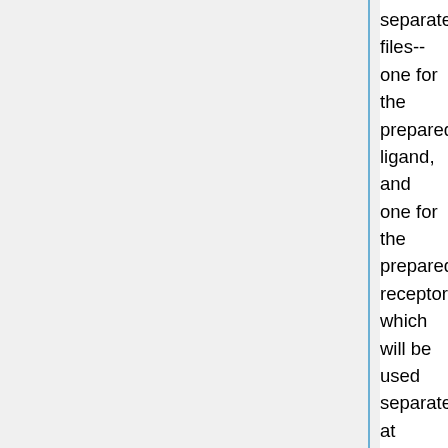separate files--one for the prepared ligand, and one for the prepared receptor, which will be used separately at points.
Isolating the receptor: Load the 6ME2 pdb into Chimera. Select and delete the OLA and PEG residues. There are non-standard residues (YCM) which need to be mutated to the closest structural analog, cysteine. Using Tools > Structure Editing > Rotamers, change YCM to the most probable rotamers of CYS. Use Tools > Surface/Binding analysis > DockPrep to add hydrogens to the receptor. Save this structure as a mol2 with File > Save mol2
Isolating ligand: Select the ligand (JEV) in Chimera. Initially, the structure will present incorrectly with an sp2 carbon